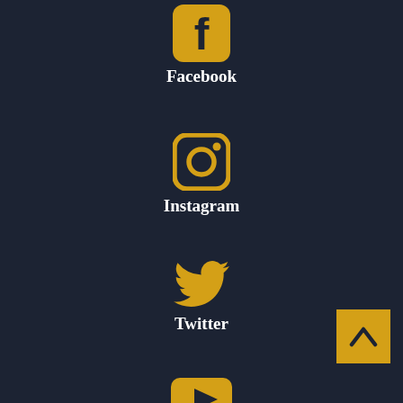[Figure (logo): Facebook icon in golden/amber color - square with rounded corners and 'f' letter]
Facebook
[Figure (logo): Instagram icon in golden/amber color - rounded square camera outline with inner circle]
Instagram
[Figure (logo): Twitter bird icon in golden/amber color]
Twitter
[Figure (logo): YouTube icon in golden/amber color - rounded rectangle with play button triangle]
Youtube
[Figure (logo): Back to top button - golden/amber square with upward chevron arrow]
[Figure (logo): Fifth social media icon partially visible at bottom]